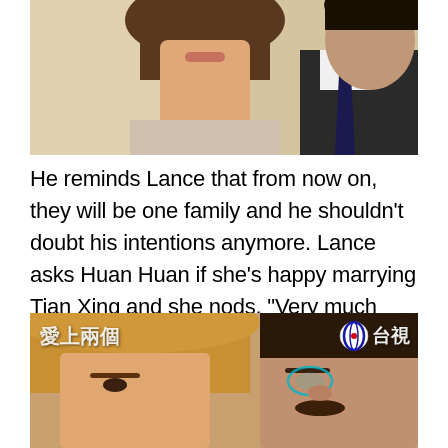[Figure (photo): Top portion of a TV drama screenshot showing two people: a woman with long brown hair and a man in a dark suit with a tie, against a light background]
He reminds Lance that from now on, they will be one family and he shouldn't doubt his intentions anymore. Lance asks Huan Huan if she's happy marrying Tian Xing and she nods, "Very much so." He replies, "Is it?" with sad eyes and Evil Mother quickly motions for the ceremony to continue. The pastor asks if Huan Huan is willing to be Tian Xing's wife, and she answers, "I do." A tear escapes from Tao Zi's eyes.
[Figure (screenshot): Bottom TV drama screenshot showing a blonde/light-haired woman on the left and a man with a mustache and glasses on the right, with Chinese text overlay '爱上兩個' on left and Taiwan TV channel logo '台視' on right]